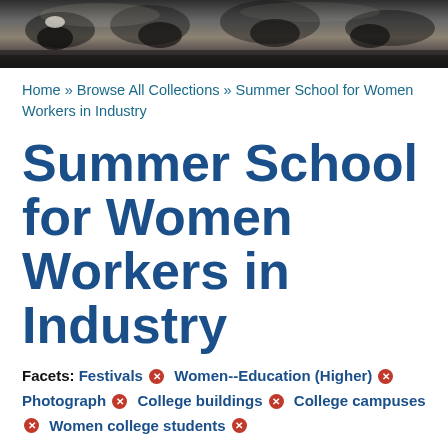[Figure (photo): Black and white historical photograph used as a banner, showing people outdoors, partially cropped]
Home » Browse All Collections » Summer School for Women Workers in Industry
Summer School for Women Workers in Industry
Facets: Festivals ✕  Women--Education (Higher) ✕  Photograph ✕  College buildings ✕  College campuses ✕  Women college students ✕